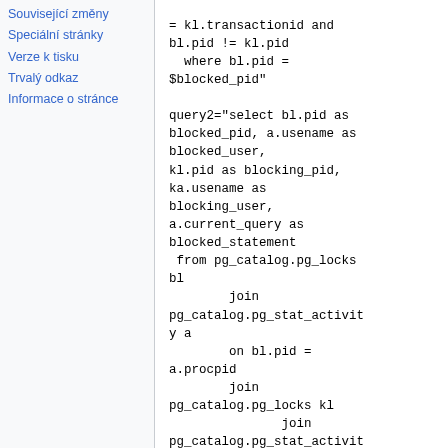Související změny
Speciální stránky
Verze k tisku
Trvalý odkaz
Informace o stránce
= kl.transactionid and bl.pid != kl.pid
  where bl.pid = $blocked_pid"

query2="select bl.pid as blocked_pid, a.usename as blocked_user,
kl.pid as blocking_pid,
ka.usename as blocking_user,
a.current_query as blocked_statement
 from pg_catalog.pg_locks bl
        join pg_catalog.pg_stat_activity a
        on bl.pid = a.procpid
        join pg_catalog.pg_locks kl
               join pg_catalog.pg_stat_activity ka
        y ka